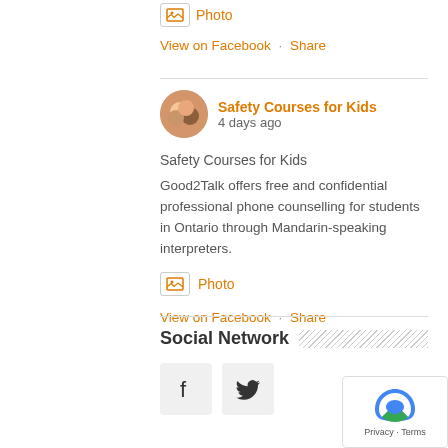Photo
View on Facebook · Share
Safety Courses for Kids
4 days ago
Safety Courses for Kids
Good2Talk offers free and confidential professional phone counselling for students in Ontario through Mandarin-speaking interpreters.
Photo
View on Facebook · Share
Social Network